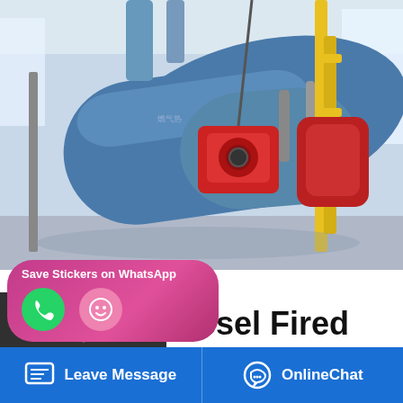[Figure (photo): Industrial boiler equipment in a factory setting — large blue cylindrical boilers with red motor components and yellow piping structures]
Agent 8t Diesel Fired Condensing Boiler Commercial Georgia
Price Commercial 6t oil boiler Azerbaijan. 1T Distributor Industrial Boiler Turkey. Fully Automatic 6 ton 10 ton Industrial Coal Fired Boiler 0000 kcal industrial thermal oil boiler coal fired 0000 kcal industrial thermal oil boiler suppliers 1 t h light oil boiler 6t wood steam gas for textile 80